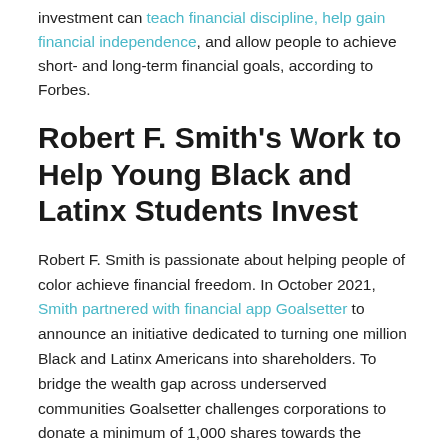investment can teach financial discipline, help gain financial independence, and allow people to achieve short- and long-term financial goals, according to Forbes.
Robert F. Smith's Work to Help Young Black and Latinx Students Invest
Robert F. Smith is passionate about helping people of color achieve financial freedom. In October 2021, Smith partnered with financial app Goalsetter to announce an initiative dedicated to turning one million Black and Latinx Americans into shareholders. To bridge the wealth gap across underserved communities Goalsetter challenges corporations to donate a minimum of 1,000 shares towards the initiative, who will then distribute shares to Black and Latinx teens across the country. The students are then guided by Goalsetter through the investment process.